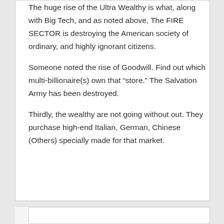The huge rise of the Ultra Wealthy is what, along with Big Tech, and as noted above, The FIRE SECTOR is destroying the American society of ordinary, and highly ignorant citizens.
Someone noted the rise of Goodwill. Find out which multi-billionaire(s) own that “store.” The Salvation Army has been destroyed.
Thirdly, the wealthy are not going without out. They purchase high-end Italian, German, Chinese (Others) specially made for that market.